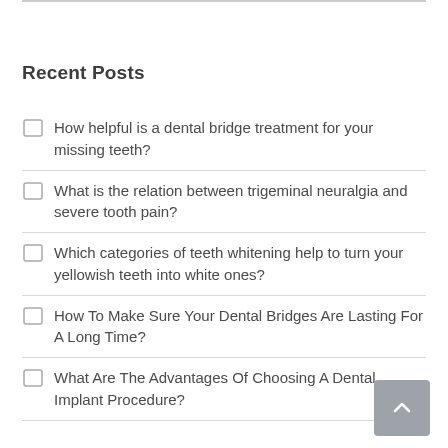Recent Posts
How helpful is a dental bridge treatment for your missing teeth?
What is the relation between trigeminal neuralgia and severe tooth pain?
Which categories of teeth whitening help to turn your yellowish teeth into white ones?
How To Make Sure Your Dental Bridges Are Lasting For A Long Time?
What Are The Advantages Of Choosing A Dental Implant Procedure?